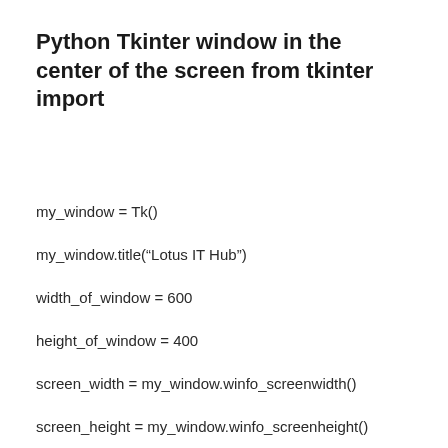Python Tkinter window in the center of the screen from tkinter import
my_window = Tk()
my_window.title(“Lotus IT Hub”)
width_of_window = 600
height_of_window = 400
screen_width = my_window.winfo_screenwidth()
screen_height = my_window.winfo_screenheight()